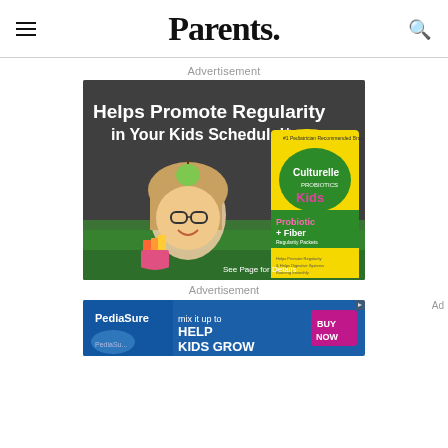Parents.
Advertisement
[Figure (photo): Culturelle Kids Probiotic + Fiber advertisement showing a smiling girl with glasses and an apple on her head, with the product package. Text reads: Helps Promote Regularity in Your Kids Schedule!* See Page for Details]
Advertisement
[Figure (photo): PediaSure advertisement banner: 'mix it up to HELP KIDS GROW' with BUY NOW button]